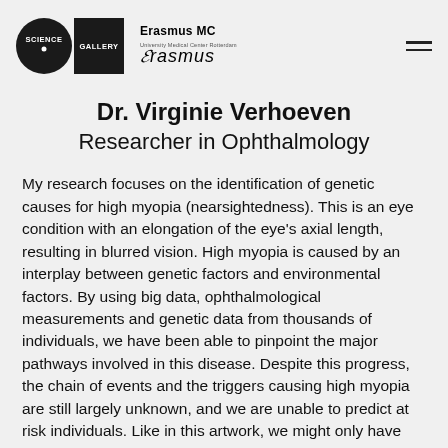[Figure (logo): Science Gallery logo (circle with SCIENCE and black square with GALLERY text) and Erasmus MC University Medical Center Rotterdam logo with cursive Erasmus signature, plus hamburger menu icon]
Dr. Virginie Verhoeven
Researcher in Ophthalmology
My research focuses on the identification of genetic causes for high myopia (nearsightedness). This is an eye condition with an elongation of the eye's axial length, resulting in blurred vision. High myopia is caused by an interplay between genetic factors and environmental factors. By using big data, ophthalmological measurements and genetic data from thousands of individuals, we have been able to pinpoint the major pathways involved in this disease. Despite this progress, the chain of events and the triggers causing high myopia are still largely unknown, and we are unable to predict at risk individuals. Like in this artwork, we might only have